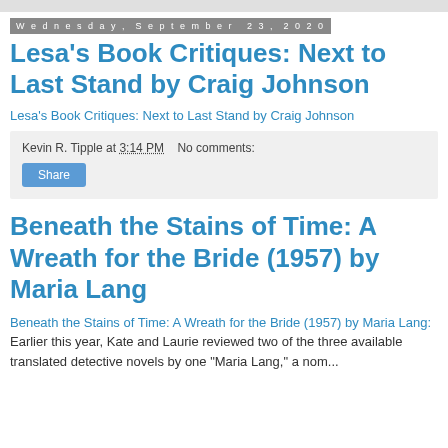Wednesday, September 23, 2020
Lesa's Book Critiques: Next to Last Stand by Craig Johnson
Lesa's Book Critiques: Next to Last Stand by Craig Johnson
Kevin R. Tipple at 3:14 PM   No comments:
Share
Beneath the Stains of Time: A Wreath for the Bride (1957) by Maria Lang
Beneath the Stains of Time: A Wreath for the Bride (1957) by Maria Lang: Earlier this year, Kate and Laurie reviewed two of the three available translated detective novels by one "Maria Lang," a nom...